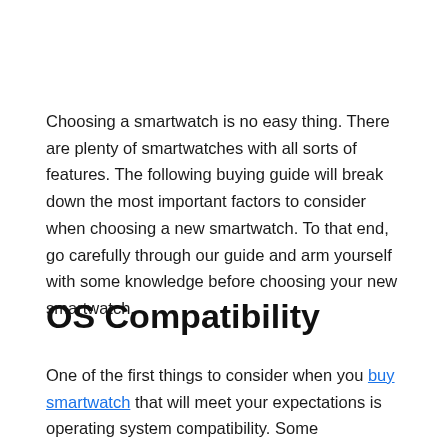Choosing a smartwatch is no easy thing. There are plenty of smartwatches with all sorts of features. The following buying guide will break down the most important factors to consider when choosing a new smartwatch. To that end, go carefully through our guide and arm yourself with some knowledge before choosing your new smartwatch.
OS Compatibility
One of the first things to consider when you buy smartwatch that will meet your expectations is operating system compatibility. Some smartwatches work with both iPhones and Android phones. However, most pair better with